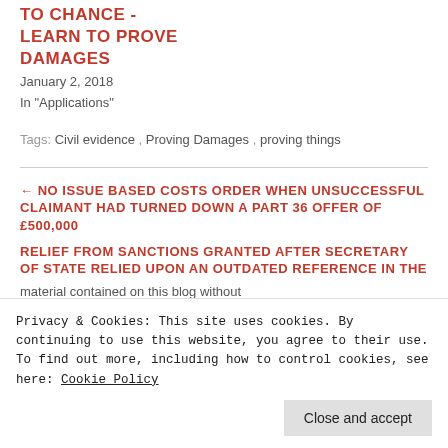TO CHANCE - LEARN TO PROVE DAMAGES
January 2, 2018
In "Applications"
Tags: Civil evidence , Proving Damages , proving things
← NO ISSUE BASED COSTS ORDER WHEN UNSUCCESSFUL CLAIMANT HAD TURNED DOWN A PART 36 OFFER OF £500,000
RELIEF FROM SANCTIONS GRANTED AFTER SECRETARY OF STATE RELIED UPON AN OUTDATED REFERENCE IN THE
material contained on this blog without
Privacy & Cookies: This site uses cookies. By continuing to use this website, you agree to their use.
To find out more, including how to control cookies, see here: Cookie Policy